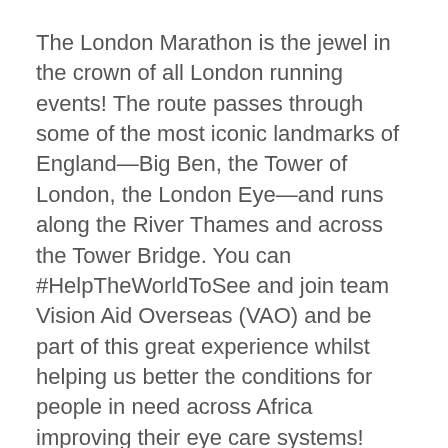The London Marathon is the jewel in the crown of all London running events! The route passes through some of the most iconic landmarks of England—Big Ben, the Tower of London, the London Eye—and runs along the River Thames and across the Tower Bridge. You can #HelpTheWorldToSee and join team Vision Aid Overseas (VAO) and be part of this great experience whilst helping us better the conditions for people in need across Africa improving their eye care systems!
Event details
Date: 2nd October 2022